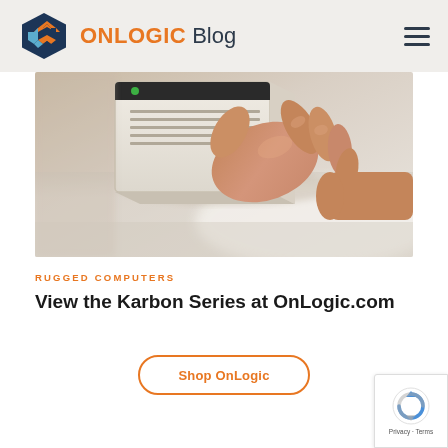ONLOGIC Blog
[Figure (photo): A hand holding or placing a white rugged industrial computer unit on a light surface.]
RUGGED COMPUTERS
View the Karbon Series at OnLogic.com
Shop OnLogic